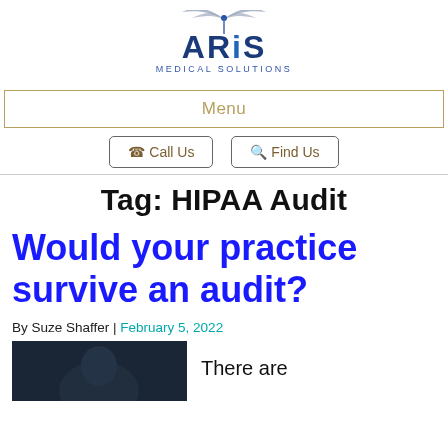[Figure (logo): ARIS Medical Solutions logo with stylized bird/wings above the text]
Menu
Call Us
Find Us
Tag: HIPAA Audit
Would your practice survive an audit?
By Suze Shaffer | February 5, 2022
[Figure (photo): Dark photo of a professional figure, partially visible]
There are